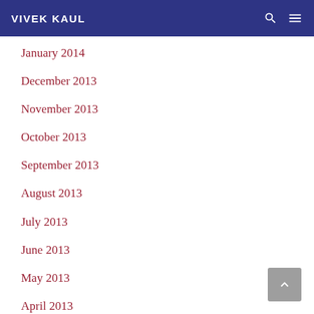VIVEK KAUL
January 2014
December 2013
November 2013
October 2013
September 2013
August 2013
July 2013
June 2013
May 2013
April 2013
March 2013
February 2013
January 2013